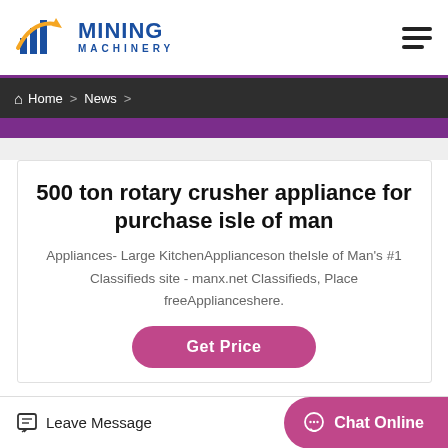Mining Machinery
Home > News >
500 ton rotary crusher appliance for purchase isle of man
Appliances- Large KitchenApplianceson theIsle of Man's #1 Classifieds site - manx.net Classifieds, Place freeApplianceshere.
Get Price
Leave Message
Chat Online